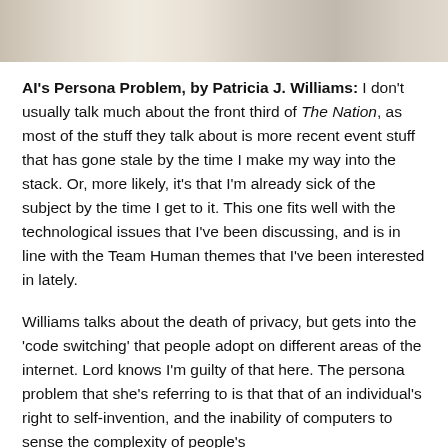[Figure (illustration): Top portion of a decorative illustration, appears to show figures and textures in muted beige/tan tones.]
AI's Persona Problem, by Patricia J. Williams: I don't usually talk much about the front third of The Nation, as most of the stuff they talk about is more recent event stuff that has gone stale by the time I make my way into the stack. Or, more likely, it's that I'm already sick of the subject by the time I get to it. This one fits well with the technological issues that I've been discussing, and is in line with the Team Human themes that I've been interested in lately.
Williams talks about the death of privacy, but gets into the 'code switching' that people adopt on different areas of the internet. Lord knows I'm guilty of that here. The persona problem that she's referring to is that that of an individual's right to self-invention, and the inability of computers to sense the complexity of people's